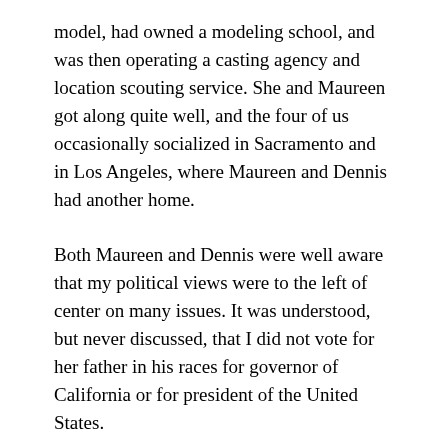model, had owned a modeling school, and was then operating a casting agency and location scouting service. She and Maureen got along quite well, and the four of us occasionally socialized in Sacramento and in Los Angeles, where Maureen and Dennis had another home.
Both Maureen and Dennis were well aware that my political views were to the left of center on many issues. It was understood, but never discussed, that I did not vote for her father in his races for governor of California or for president of the United States.
One day, Maureen asked me to listen to a draft of a speech calling for the indictment of Oliver North and John Poindexter, and clean after, I...